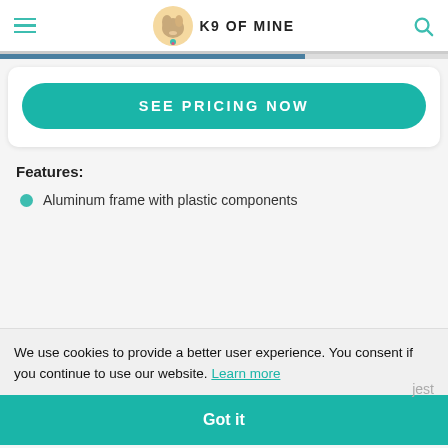K9 OF MINE
SEE PRICING NOW
Features:
Aluminum frame with plastic components
We use cookies to provide a better user experience. You consent if you continue to use our website. Learn more
jest
Got it